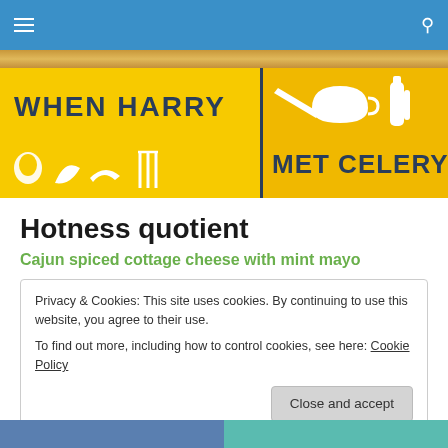Navigation bar with menu icon and search icon
[Figure (logo): When Harry Met Celery food blog banner with yellow background, white food icons, and bold dark blue text]
Hotness quotient
Cajun spiced cottage cheese with mint mayo
Privacy & Cookies: This site uses cookies. By continuing to use this website, you agree to their use.
To find out more, including how to control cookies, see here: Cookie Policy
Close and accept